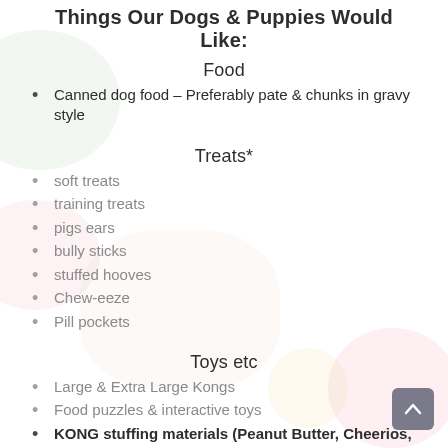Things Our Dogs & Puppies Would Like:
Food
Canned dog food – Preferably pate & chunks in gravy style
Treats*
soft treats
training treats
pigs ears
bully sticks
stuffed hooves
Chew-eeze
Pill pockets
Toys etc
Large & Extra Large Kongs
Food puzzles & interactive toys
KONG stuffing materials (Peanut Butter, Cheerios, Chex, and Life cereal)
Stuffed & squeaky toys